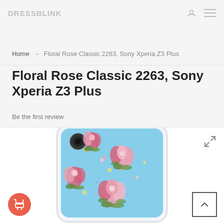DRESSBLINK
Home → Floral Rose Classic 2263, Sony Xperia Z3 Plus
Floral Rose Classic 2263, Sony Xperia Z3 Plus
Be the first review
[Figure (photo): A Sony Xperia Z3 Plus phone case with a floral rose pattern on a light blue background, shown from the back. The case is transparent/clear with pink, red, and green floral bouquets printed on it. The camera cutout is visible at the top left. An expand/fullscreen icon appears in the top right of the image area. A red shopping cart button is at the bottom left, and a scroll-to-top button is at the bottom right.]